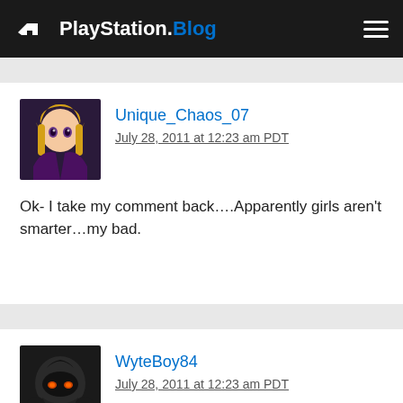PlayStation.Blog
Unique_Chaos_07
July 28, 2011 at 12:23 am PDT
Ok- I take my comment back….Apparently girls aren't smarter...my bad.
WyteBoy84
July 28, 2011 at 12:23 am PDT